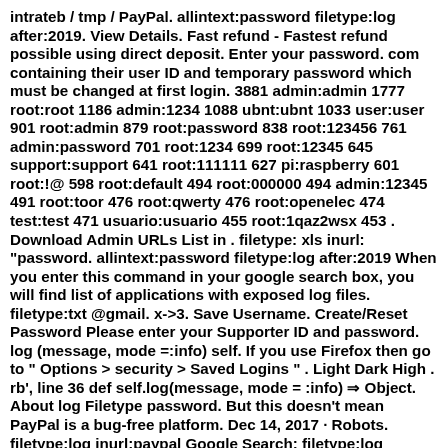intrateb / tmp / PayPal. allintext:password filetype:log after:2019. View Details. Fast refund - Fastest refund possible using direct deposit. Enter your password. com containing their user ID and temporary password which must be changed at first login. 3881 admin:admin 1777 root:root 1186 admin:1234 1088 ubnt:ubnt 1033 user:user 901 root:admin 879 root:password 838 root:123456 761 admin:password 701 root:1234 699 root:12345 645 support:support 641 root:111111 627 pi:raspberry 601 root:!@ 598 root:default 494 root:000000 494 admin:12345 491 root:toor 476 root:qwerty 476 root:openelec 474 test:test 471 usuario:usuario 455 root:1qaz2wsx 453 . Download Admin URLs List in . filetype:xls inurl: "password. allintext:password filetype:log after:2019 When you enter this command in your google search box, you will find list of applications with exposed log files. filetype:txt @gmail. x->3. Save Username. Create/Reset Password Please enter your Supporter ID and password. log (message, mode =:info) self. If you use Firefox then go to " Options > security > Saved Logins " . Light Dark High . rb', line 36 def self.log(message, mode = :info) ⇒ Object. About log Filetype password. But this doesn't mean PayPal is a bug-free platform. Dec 14, 2017 · Robots. filetype:log inurl:paypal Google Search: filetype:log inurl:paypal # Author: - Hank Fordham # Category: - juicy information # Description: - This dork returns the logs which contains sensitive information like email